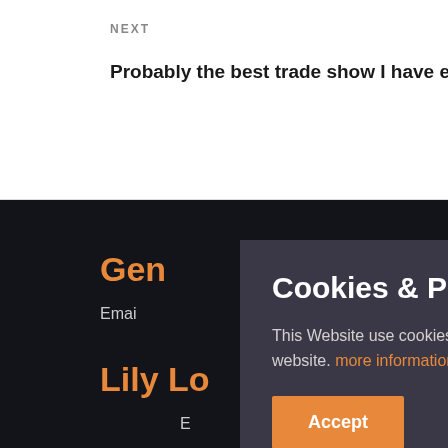NEXT
Probably the best trade show I have ever attended →
Gen
Emai
Lily Lo
E
Cookies & Privacy
This Website use cookies to ensure you get the best experiance on our website. more information
Accept